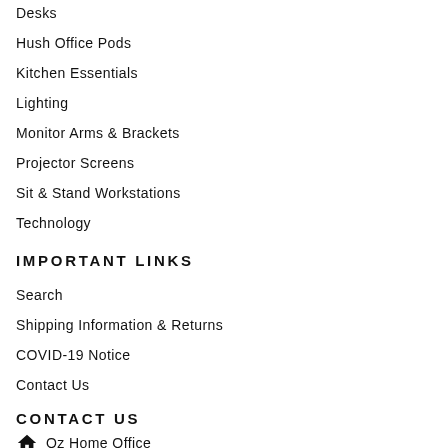Desks
Hush Office Pods
Kitchen Essentials
Lighting
Monitor Arms & Brackets
Projector Screens
Sit & Stand Workstations
Technology
IMPORTANT LINKS
Search
Shipping Information & Returns
COVID-19 Notice
Contact Us
CONTACT US
Oz Home Office